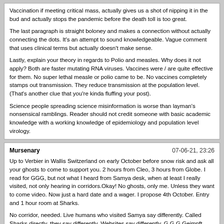Vaccination if meeting critical mass, actually gives us a shot of nipping it in the bud and actually stops the pandemic before the death toll is too great.

The last paragraph is straight boloney and makes a connection without actually connecting the dots. It's an attempt to sound knowledgeable. Vague comment that uses clinical terms but actually doesn't make sense.

Lastly, explain your theory in regards to Polio and measles. Why does it not apply? Both are faster mutating RNA viruses. Vaccines were / are quite effective for them. No super lethal measle or polio came to be. No vaccines completely stamps out transmission. They reduce transmission at the population level. (That's another clue that you're kinda fluffing your post).

Science people spreading science misinformation is worse than layman's nonsensical ramblings. Reader should not credit someone with basic academic knowledge with a working knowledge of epidemiology and population level virology.
Mursenary	07-06-21, 23:26

Up to Verbier in Wallis Switzerland on early October before snow risk and ask all your ghosts to come to support you. 2 hours from Cleo, 3 hours from Globe. I read for GGG, but not what I heard from Samya desk, when at least I really visited, not only hearing in corridors.Okay! No ghosts, only me. Unless they want to come video. Now just a hard date and a wager. I propose 4th October. Entry and 1 hour room at Sharks.

No corridor, needed. Live humans who visited Samya say differently. Called Sharks directly, they say differently. Websites say differently. G,G,G Geimpft, genesen oder getestet. Key word is "oder," as in English "or," French "ou alors." Vaccine, Recovery, OR test.

Funny how so many questions can be answered by just picking up the telephone can calling the clubs directly.